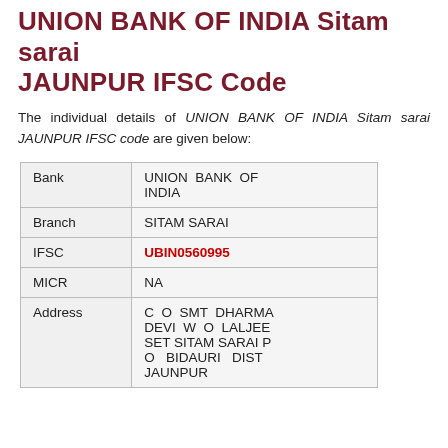UNION BANK OF INDIA Sitam sarai JAUNPUR IFSC Code
The individual details of UNION BANK OF INDIA Sitam sarai JAUNPUR IFSC code are given below:
|  |  |
| --- | --- |
| Bank | UNION BANK OF INDIA |
| Branch | SITAM SARAI |
| IFSC | UBIN0560995 |
| MICR | NA |
| Address | C O SMT DHARMA DEVI W O LALJEE SET SITAM SARAI P O BIDAURI DIST JAUNPUR |